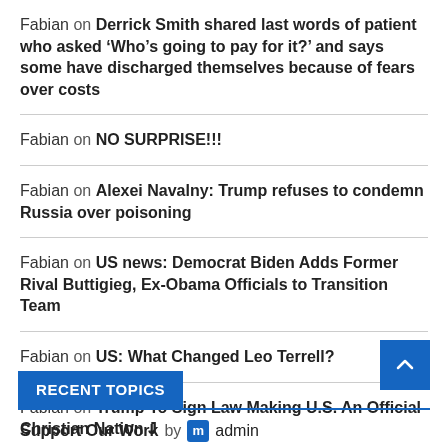Fabian on Derrick Smith shared last words of patient who asked ‘Who’s going to pay for it?’ and says some have discharged themselves because of fears over costs
Fabian on NO SURPRISE!!!
Fabian on Alexei Navalny: Trump refuses to condemn Russia over poisoning
Fabian on US news: Democrat Biden Adds Former Rival Buttigieg, Ex-Obama Officials to Transition Team
Fabian on US: What Changed Leo Terrell?
Fabian on Trump To Sign Law Making U.S. An Official Christian Nation J
RECENT TOPICS
Support Our Work by admin